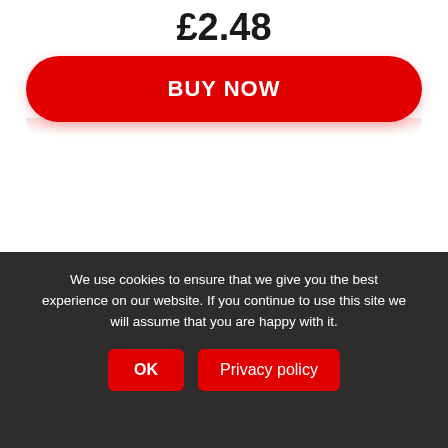£2.48
[Figure (screenshot): Red 'BUY NOW' button with rounded corners]
[Figure (screenshot): Search input field with placeholder text 'Product name']
[Figure (screenshot): Red 'SEARCH FOR DEALS' button with rounded corners]
[Figure (screenshot): Grey scroll-to-top button with upward chevron arrow]
We use cookies to ensure that we give you the best experience on our website. If you continue to use this site we will assume that you are happy with it.
[Figure (screenshot): Cookie consent bar with OK and Privacy policy buttons]